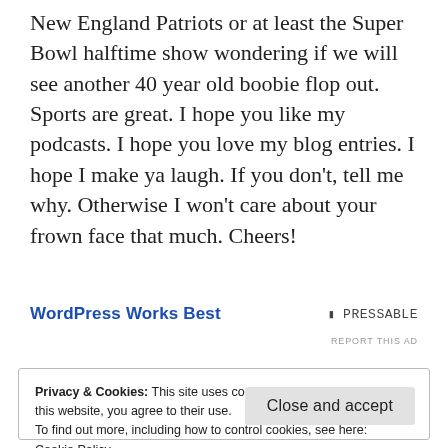New England Patriots or at least the Super Bowl halftime show wondering if we will see another 40 year old boobie flop out. Sports are great. I hope you like my podcasts. I hope you love my blog entries. I hope I make ya laugh. If you don't, tell me why. Otherwise I won't care about your frown face that much. Cheers!
WordPress Works Best
▮ PRESSABLE
REPORT THIS AD
Privacy & Cookies: This site uses cookies. By continuing to use this website, you agree to their use.
To find out more, including how to control cookies, see here:
Cookie Policy
Close and accept